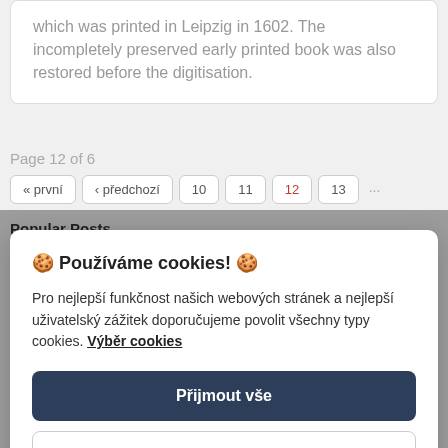which was printed in Leipzig in 1602. The incompletely preserved early printed book was also restored before the digitisation.
Page 12 of 6
« první  ‹ předchozí  10  11  12  13  ...
Popular Posts
🍪 Používáme cookies! 🍪
Pro nejlepší funkčnost našich webových stránek a nejlepší uživatelský zážitek doporučujeme povolit všechny typy cookies. Výběr cookies
Přijmout vše
Odmítnout vše